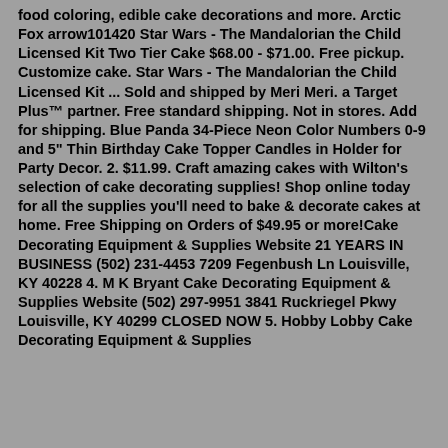food coloring, edible cake decorations and more. Arctic Fox arrow101420 Star Wars - The Mandalorian the Child Licensed Kit Two Tier Cake $68.00 - $71.00. Free pickup. Customize cake. Star Wars - The Mandalorian the Child Licensed Kit ... Sold and shipped by Meri Meri. a Target Plus™ partner. Free standard shipping. Not in stores. Add for shipping. Blue Panda 34-Piece Neon Color Numbers 0-9 and 5" Thin Birthday Cake Topper Candles in Holder for Party Decor. 2. $11.99. Craft amazing cakes with Wilton's selection of cake decorating supplies! Shop online today for all the supplies you'll need to bake & decorate cakes at home. Free Shipping on Orders of $49.95 or more!Cake Decorating Equipment & Supplies Website 21 YEARS IN BUSINESS (502) 231-4453 7209 Fegenbush Ln Louisville, KY 40228 4. M K Bryant Cake Decorating Equipment & Supplies Website (502) 297-9951 3841 Ruckriegel Pkwy Louisville, KY 40299 CLOSED NOW 5. Hobby Lobby Cake Decorating Equipment & Supplies